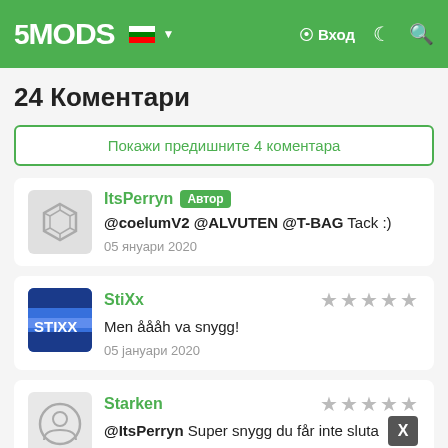5MODS | Вход
24 Коментари
Покажи предишните 4 коментара
ItsPerryn Автор
@coelumV2 @ALVUTEN @T-BAG Tack :)
05 януари 2020
StiXx ★★★★★
Men åååh va snygg!
05 януари 2020
Starken ★★★★★
@ItsPerryn Super snygg du får inte sluta
05 януари 2020
LeXin11